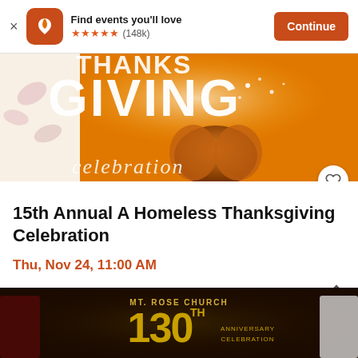Find events you'll love ★★★★★ (148k) Continue
[Figure (illustration): Thanksgiving Celebration event banner with orange large text 'GIVING' and 'celebration' script text over pumpkins and sparkles]
15th Annual A Homeless Thanksgiving Celebration
Thu, Nov 24, 11:00 AM
Forest Park • Dallas, TX
[Figure (illustration): MT. Rose Church 130th Anniversary Celebration dark banner with gold text]